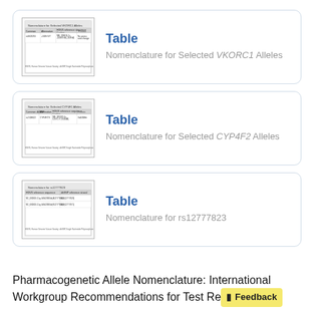[Figure (table-as-image): Thumbnail of table: Nomenclature for Selected VKORC1 Alleles]
Table
Nomenclature for Selected VKORC1 Alleles
[Figure (table-as-image): Thumbnail of table: Nomenclature for Selected CYP4F2 Alleles]
Table
Nomenclature for Selected CYP4F2 Alleles
[Figure (table-as-image): Thumbnail of table: Nomenclature for rs12777823]
Table
Nomenclature for rs12777823
Pharmacogenetic Allele Nomenclature: International Workgroup Recommendations for Test Re… [Feedback]